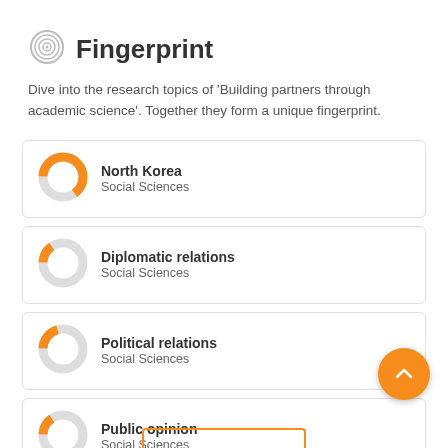Fingerprint
Dive into the research topics of 'Building partners through academic science'. Together they form a unique fingerprint.
[Figure (donut-chart): Donut chart showing North Korea topic - large orange segment (~65%), rest grey]
[Figure (donut-chart): Donut chart showing Diplomatic relations topic - small orange segment (~15%), rest grey]
[Figure (donut-chart): Donut chart showing Political relations topic - small orange segment (~20%), rest grey]
[Figure (donut-chart): Donut chart showing Public opinion topic - small orange segment (~15%), rest grey]